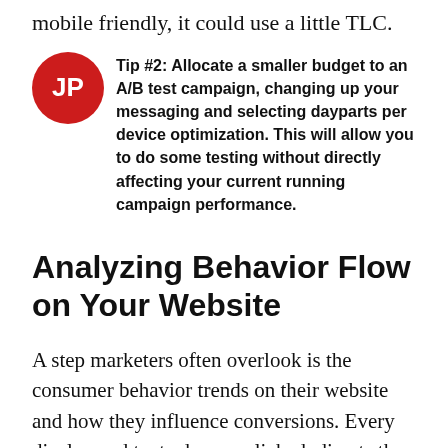mobile friendly, it could use a little TLC.
Tip #2: Allocate a smaller budget to an A/B test campaign, changing up your messaging and selecting dayparts per device optimization. This will allow you to do some testing without directly affecting your current running campaign performance.
Analyzing Behavior Flow on Your Website
A step marketers often overlook is the consumer behavior trends on their website and how they influence conversions. Every display and text ad, once clicked, directs the consumer to a specific page on the website. The goal is to have the consumer complete the specified conversion in that landing page: register for an event, submit an